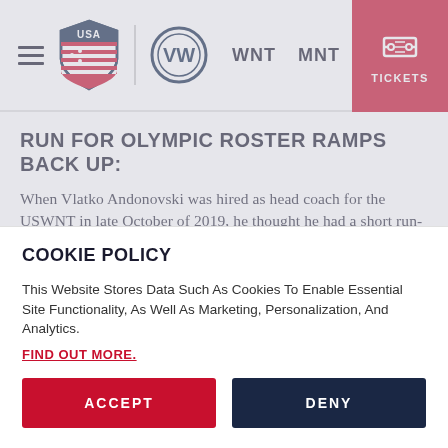[Figure (screenshot): USA Soccer navigation bar with hamburger menu, USA Soccer shield logo, VW logo, WNT and MNT links, and red Tickets button]
RUN FOR OLYMPIC ROSTER RAMPS BACK UP:
When Vlatko Andonovski was hired as head coach for the USWNT in late October of 2019, he thought he had a short run-up to prepare the team for the 2020 Olympics. When the global pandemic hit and the Olympics were postponed to 2021, his plans were altered to say the least, and without having a game
COOKIE POLICY
This Website Stores Data Such As Cookies To Enable Essential Site Functionality, As Well As Marketing, Personalization, And Analytics.
FIND OUT MORE.
ACCEPT
DENY